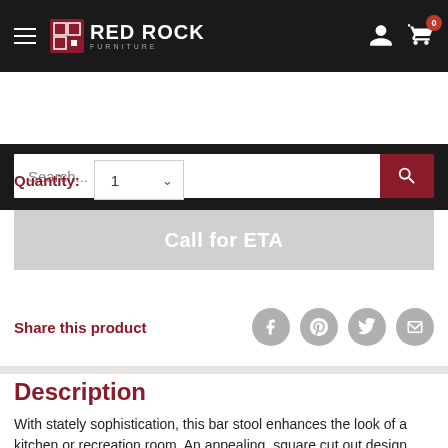[Figure (screenshot): Red Rock Furniture website header with hamburger menu, logo, user icon, and cart icon with badge showing 0]
[Figure (screenshot): Search bar with placeholder text 'Search...' and a red search button]
Quantity: 1
[Figure (screenshot): Grey 'Call for ETA' button]
Share this product
Description
With stately sophistication, this bar stool enhances the look of a kitchen or recreation room. An appealing, square cut out design